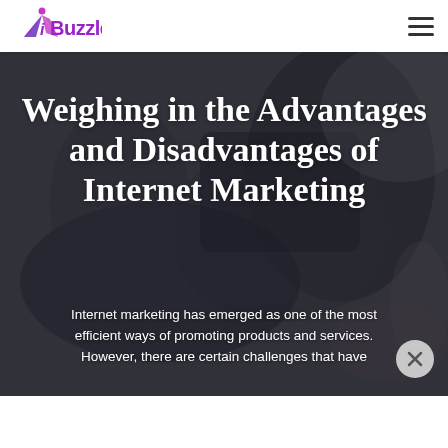iBuzzle
Weighing in the Advantages and Disadvantages of Internet Marketing
Internet marketing has emerged as one of the most efficient ways of promoting products and services. However, there are certain challenges that have...